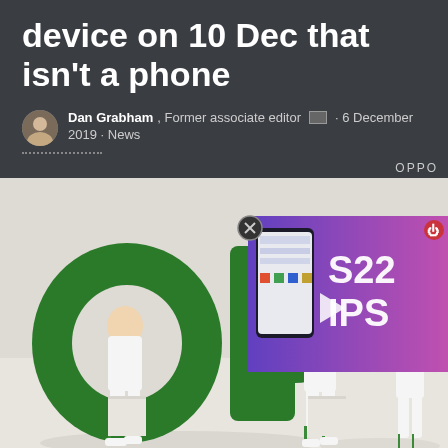device on 10 Dec that isn't a phone
Dan Grabham, Former associate editor · 6 December 2019 · News
[Figure (photo): OPPO branded promotional photo showing two people in white outfits holding large green letter props spelling 'op', with an overlaid video thumbnail showing a Samsung S22 tips video]
OPPO